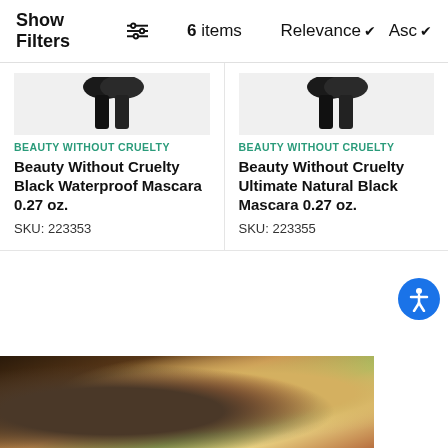Show Filters  6 items  Relevance ∨  Asc ∨
BEAUTY WITHOUT CRUELTY
Beauty Without Cruelty Black Waterproof Mascara 0.27 oz.
SKU: 223353
BEAUTY WITHOUT CRUELTY
Beauty Without Cruelty Ultimate Natural Black Mascara 0.27 oz.
SKU: 223355
[Figure (photo): Top-down view of food dishes including pasta and other items in dark bowls on a dark wooden table]